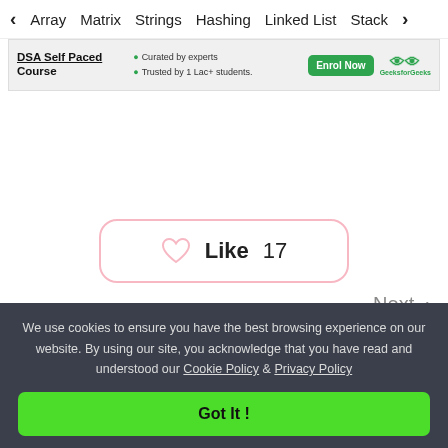< Array  Matrix  Strings  Hashing  Linked List  Stack >
[Figure (screenshot): GeeksforGeeks DSA Self Paced Course advertisement banner with Enrol Now button]
[Figure (other): Like button with heart icon showing count of 17]
Next >
Check whethe...
We use cookies to ensure you have the best browsing experience on our website. By using our site, you acknowledge that you have read and understood our Cookie Policy & Privacy Policy
Got It !